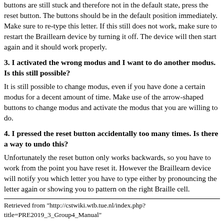buttons are still stuck and therefore not in the default state, press the reset button. The buttons should be in the default position immediately. Make sure to re-type this letter. If this still does not work, make sure to restart the Braillearn device by turning it off. The device will then start again and it should work properly.
3. I activated the wrong modus and I want to do another modus. Is this still possible?
It is still possible to change modus, even if you have done a certain modus for a decent amount of time. Make use of the arrow-shaped buttons to change modus and activate the modus that you are willing to do.
4. I pressed the reset button accidentally too many times. Is there a way to undo this?
Unfortunately the reset button only works backwards, so you have to work from the point you have reset it. However the Braillearn device will notify you which letter you have to type either by pronouncing the letter again or showing you to pattern on the right Braille cell.
Retrieved from "http://cstwiki.wtb.tue.nl/index.php?title=PRE2019_3_Group4_Manual"